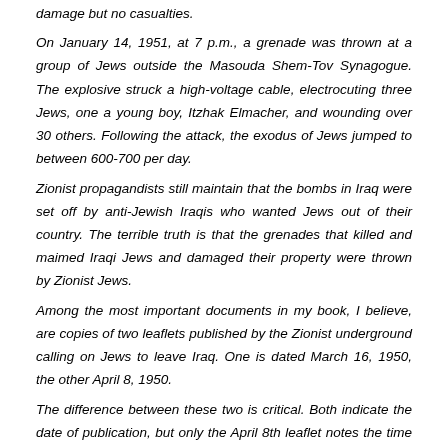damage but no casualties.
On January 14, 1951, at 7 p.m., a grenade was thrown at a group of Jews outside the Masouda Shem-Tov Synagogue. The explosive struck a high-voltage cable, electrocuting three Jews, one a young boy, Itzhak Elmacher, and wounding over 30 others. Following the attack, the exodus of Jews jumped to between 600-700 per day.
Zionist propagandists still maintain that the bombs in Iraq were set off by anti-Jewish Iraqis who wanted Jews out of their country. The terrible truth is that the grenades that killed and maimed Iraqi Jews and damaged their property were thrown by Zionist Jews.
Among the most important documents in my book, I believe, are copies of two leaflets published by the Zionist underground calling on Jews to leave Iraq. One is dated March 16, 1950, the other April 8, 1950.
The difference between these two is critical. Both indicate the date of publication, but only the April 8th leaflet notes the time of day: 4 p.m.
Why the time of day? Such a specification was unprecedented. Even